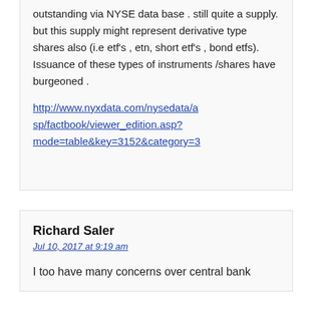outstanding via NYSE data base . still quite a supply. but this supply might represent derivative type shares also (i.e etf's , etn, short etf's , bond etfs). Issuance of these types of instruments /shares have burgeoned .
http://www.nyxdata.com/nysedata/asp/factbook/viewer_edition.asp?mode=table&key=3152&category=3
Richard Saler
Jul 10, 2017 at 9:19 am
I too have many concerns over central bank